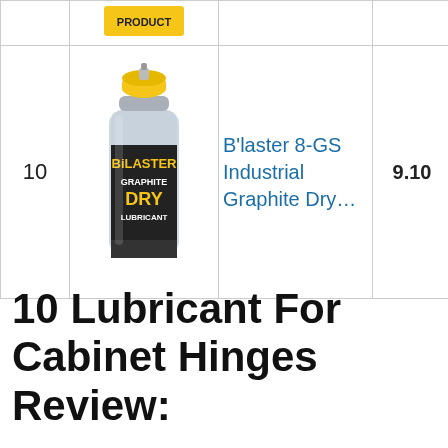| # | Image | Name | Price | Buy |
| --- | --- | --- | --- | --- |
|  |  |  |  |  |
| 10 | [Blaster product image] | B'laster 8-GS Industrial Graphite Dry... | 9.10 | Buy on Amazon |
10 Lubricant For Cabinet Hinges Review: